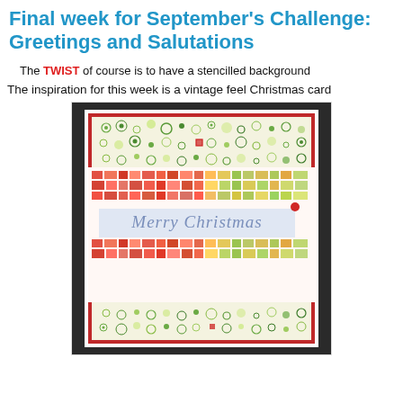Final week for September's Challenge: Greetings and Salutations
The TWIST of course is to have a stencilled background
The inspiration for this week is a vintage feel Christmas card
[Figure (photo): A vintage feel Christmas card with stencilled background featuring polka dot patterns on top and bottom strips and colorful rectangular patterns in the middle with a 'Merry Christmas' banner overlay. The card has a red border on a dark green mat, set against a white card base, photographed on a dark background.]